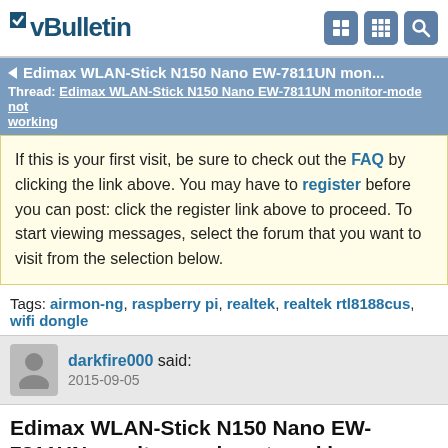vBulletin
Edimax WLAN-Stick N150 Nano EW-7811UN mon... Thread: Edimax WLAN-Stick N150 Nano EW-7811UN monitor-mode not working
If this is your first visit, be sure to check out the FAQ by clicking the link above. You may have to register before you can post: click the register link above to proceed. To start viewing messages, select the forum that you want to visit from the selection below.
Tags: airmon-ng, raspberry pi, realtek, realtek rtl8188cus, wifi dongle
darkfire000 said: 2015-09-05
Edimax WLAN-Stick N150 Nano EW-7811UN monitor-mode not working
Hello